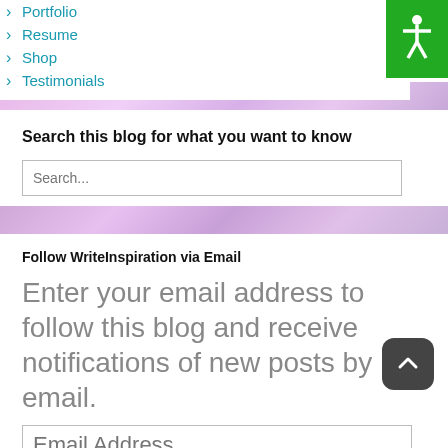Portfolio
Resume
Shop
Testimonials
[Figure (other): Pink/purple gradient decorative banner strip]
Search this blog for what you want to know
[Figure (other): Search input box with placeholder text 'Search...']
[Figure (other): Pink/purple gradient decorative banner strip]
Follow WriteInspiration via Email
Enter your email address to follow this blog and receive notifications of new posts by email.
[Figure (other): Email Address input field, partially visible at bottom]